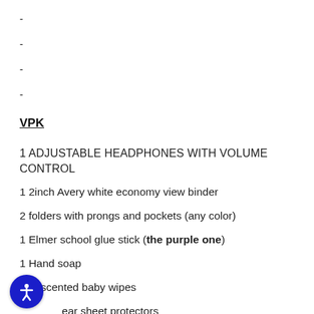-
-
-
-
VPK
1 ADJUSTABLE HEADPHONES WITH VOLUME CONTROL
1 2inch Avery white economy view binder
2 folders with prongs and pockets (any color)
1 Elmer school glue stick (the purple one)
1 Hand soap
1 unscented baby wipes
ear sheet protectors